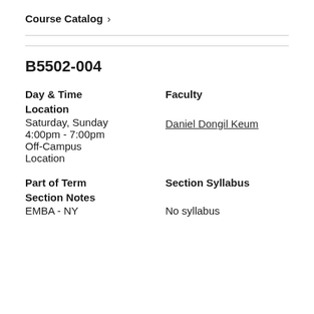Course Catalog >
B5502-004
| Day & Time
Location | Faculty |
| --- | --- |
| Saturday, Sunday
4:00pm - 7:00pm
Off-Campus Location | Daniel Dongil Keum |
| Part of Term
Section Notes | Section Syllabus |
| --- | --- |
| EMBA - NY | No syllabus |